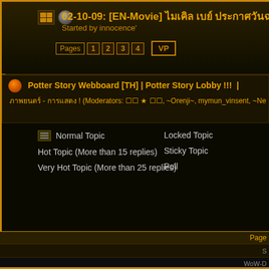02-10-09: [EN-Movie] ไมเคิล เบย์ ประกาศวันฉา
Started by innocence'
Pages 1 2 3 4 VP
Potter Story Webboard [TH] | Potter Story Lobby !!! |
ภาพยนตร์ - การแสดง ! (Moderators: ☐☐ ★ ☐☐, ~Orenji~, mymun_vinsent, ~Ne
Normal Topic
Hot Topic (More than 15 replies)
Very Hot Topic (More than 25 replies)
Locked Topic
Sticky Topic
Poll
Page
S
WoW-D